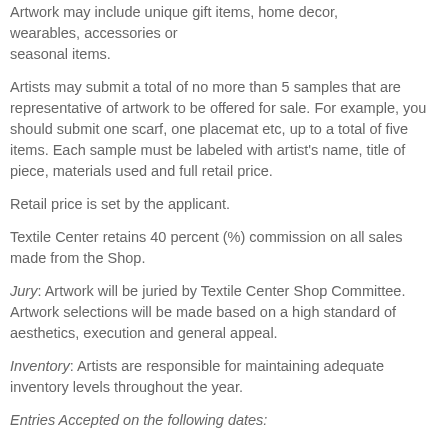Artwork may include unique gift items, home decor, wearables, accessories or seasonal items.
Artists may submit a total of no more than 5 samples that are representative of artwork to be offered for sale. For example, you should submit one scarf, one placemat etc, up to a total of five items. Each sample must be labeled with artist's name, title of piece, materials used and full retail price.
Retail price is set by the applicant.
Textile Center retains 40 percent (%) commission on all sales made from the Shop.
Jury: Artwork will be juried by Textile Center Shop Committee. Artwork selections will be made based on a high standard of aesthetics, execution and general appeal.
Inventory: Artists are responsible for maintaining adequate inventory levels throughout the year.
Entries Accepted on the following dates: